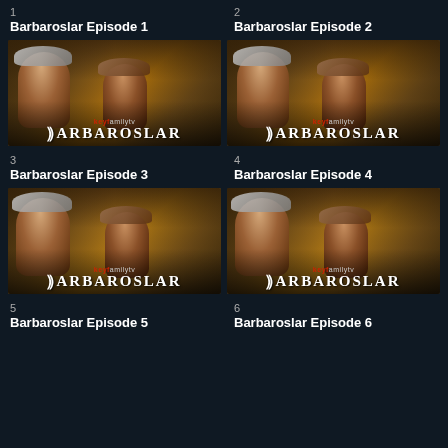1
Barbaroslar Episode 1
[Figure (photo): Thumbnail image of Barbaroslar TV series Episode 1, showing two male characters in historical Ottoman costume with turbans. Text overlay reads 'keyfamilytv BARBAROSLAR']
2
Barbaroslar Episode 2
[Figure (photo): Thumbnail image of Barbaroslar TV series Episode 2, showing two male characters in historical Ottoman costume with turbans. Text overlay reads 'keyfamilytv BARBAROSLAR']
3
Barbaroslar Episode 3
[Figure (photo): Thumbnail image of Barbaroslar TV series Episode 3, showing two male characters in historical Ottoman costume with turbans. Text overlay reads 'keyfamilytv BARBAROSLAR']
4
Barbaroslar Episode 4
[Figure (photo): Thumbnail image of Barbaroslar TV series Episode 4, showing two male characters in historical Ottoman costume with turbans. Text overlay reads 'keyfamilytv BARBAROSLAR']
5
Barbaroslar Episode 5
6
Barbaroslar Episode 6